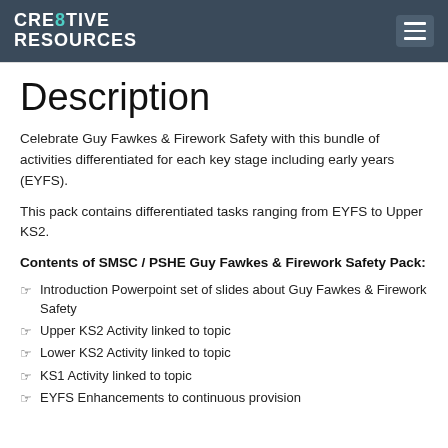CRE8TIVE RESOURCES
Description
Celebrate Guy Fawkes & Firework Safety with this bundle of activities differentiated for each key stage including early years (EYFS).
This pack contains differentiated tasks ranging from EYFS to Upper KS2.
Contents of SMSC / PSHE Guy Fawkes & Firework Safety Pack:
Introduction Powerpoint set of slides about Guy Fawkes & Firework Safety
Upper KS2 Activity linked to topic
Lower KS2 Activity linked to topic
KS1 Activity linked to topic
EYFS Enhancements to continuous provision